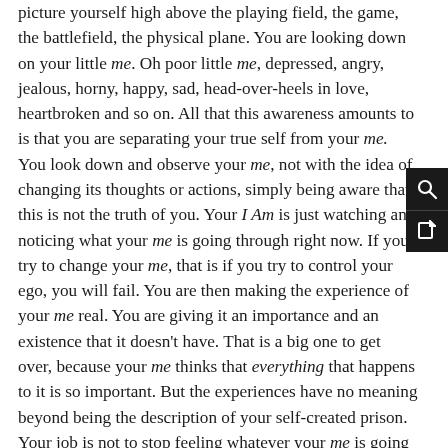picture yourself high above the playing field, the game, the battlefield, the physical plane. You are looking down on your little me. Oh poor little me, depressed, angry, jealous, horny, happy, sad, head-over-heels in love, heartbroken and so on. All that this awareness amounts to is that you are separating your true self from your me. You look down and observe your me, not with the idea of changing its thoughts or actions, simply being aware that this is not the truth of you. Your I Am is just watching and noticing what your me is going through right now. If you try to change your me, that is if you try to control your ego, you will fail. You are then making the experience of your me real. You are giving it an importance and an existence that it doesn't have. That is a big one to get over, because your me thinks that everything that happens to it is so important. But the experiences have no meaning beyond being the description of your self-created prison. Your job is not to stop feeling whatever your me is going through, but to simply notice what is going on from a detached separate space, from your I Am. You might lovingly notice